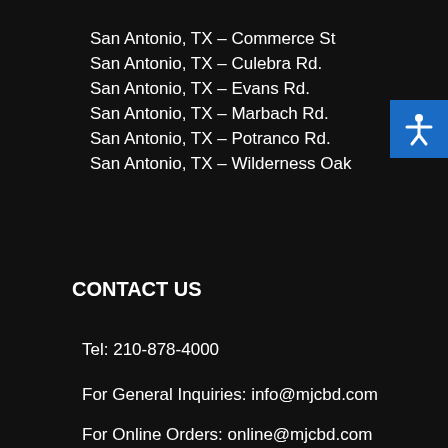San Antonio, TX – Commerce St
San Antonio, TX – Culebra Rd.
San Antonio, TX – Evans Rd.
San Antonio, TX – Marbach Rd.
San Antonio, TX – Potranco Rd.
San Antonio, TX – Wilderness Oak
CONTACT US
Tel: 210-878-4000
For General Inquiries: info@mjcbd.com
For Online Orders: online@mjcbd.com
[Figure (illustration): Blue accessibility icon button with white stick figure person with arms outstretched]